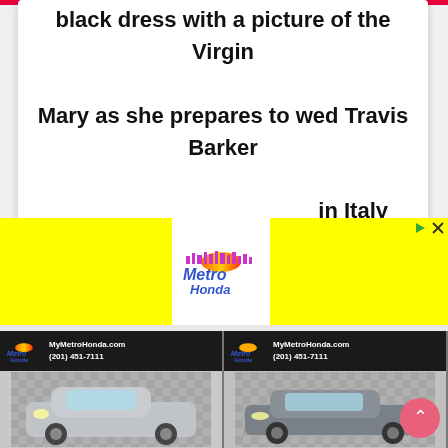black dress with a picture of the Virgin Mary as she prepares to wed Travis Barker in Italy
[Figure (advertisement): Metro Honda advertisement banner with yellow background panels on left and right, Metro Honda logo in center, ad controls (play and close buttons) in top right]
[Figure (advertisement): Metro Honda car dealership strip showing three cars (silver Honda Fit hatchback, gray Honda Civic sedan, partial silver car) with dealer logo and contact info: MyMetroHonda.com (201) 451-7111]